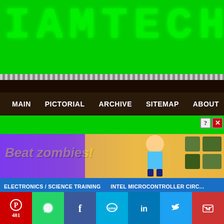[Figure (logo): IAMTECH LED-style green dot-matrix logo on black background]
MAIN  PICTORIAL  ARCHIVE  SITEMAP  ABOUT  CONTACT
[Figure (screenshot): Beat zombies! game advertisement banner]
ELECTRONICS / SCIENCE TRAINING
INTEL MICROCONTROLLER CIRC...
SEMICONDUCTOR DIODE
SEMICONDUCTOR TRANSISTOR
NPN T...
N-CHANNEL MOSFET SWITCHES
P-CHANNEL MOSFET SWITCHES
SEMICONDUCTOR THYRISTOR
ASTABLE MULTIVIBRATOR
BISTAB...
OPERATIONAL AMPLIFIER
SEVEN SEGMENT DISPLAY
ALPHANUM...
JOHNSON DECADE COUNTER
555 TIMER PROJECTS
ENGINEERIN...
Pinterest 481 | WhatsApp | Facebook | SMS | LinkedIn | Twitter | Gmail